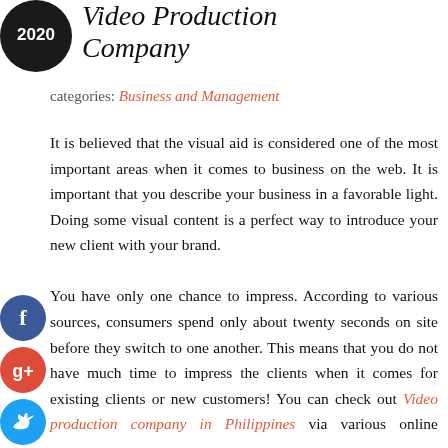[Figure (logo): Black circle with '2020' text in white, representing a logo or badge]
Video Production Company
categories: Business and Management
It is believed that the visual aid is considered one of the most important areas when it comes to business on the web. It is important that you describe your business in a favorable light. Doing some visual content is a perfect way to introduce your new client with your brand.

You have only one chance to impress. According to various sources, consumers spend only about twenty seconds on site before they switch to one another. This means that you do not have much time to impress the clients when it comes for existing clients or new customers! You can check out Video production company in Philippines via various online resources.